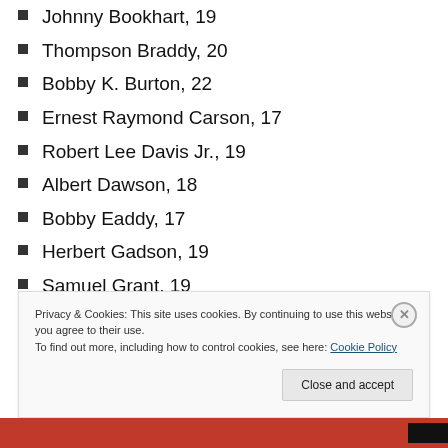Johnny Bookhart, 19
Thompson Braddy, 20
Bobby K. Burton, 22
Ernest Raymond Carson, 17
Robert Lee Davis Jr., 19
Albert Dawson, 18
Bobby Eaddy, 17
Herbert Gadson, 19
Samuel Grant, 19
Samuel Grate, 19
Joseph Hampton, 21
Privacy & Cookies: This site uses cookies. By continuing to use this website, you agree to their use. To find out more, including how to control cookies, see here: Cookie Policy
Close and accept